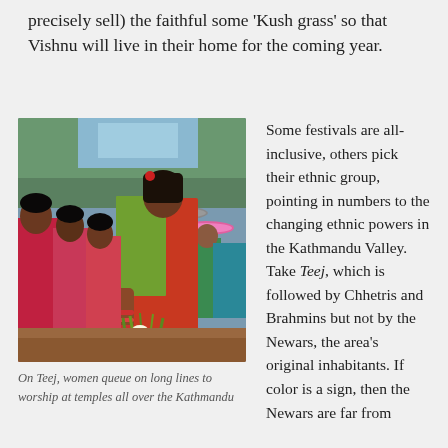precisely sell) the faithful some ‘Kush grass’ so that Vishnu will live in their home for the coming year.
[Figure (photo): Women in red and green saris queuing at a temple during Teej festival, one woman in foreground holding a tray with grass and flowers, others visible in background with umbrellas]
On Teej, women queue on long lines to worship at temples all over the Kathmandu
Some festivals are all-inclusive, others pick their ethnic group, pointing in numbers to the changing ethnic powers in the Kathmandu Valley. Take Teej, which is followed by Chhetris and Brahmins but not by the Newars, the area’s original inhabitants. If color is a sign, then the Newars are far from